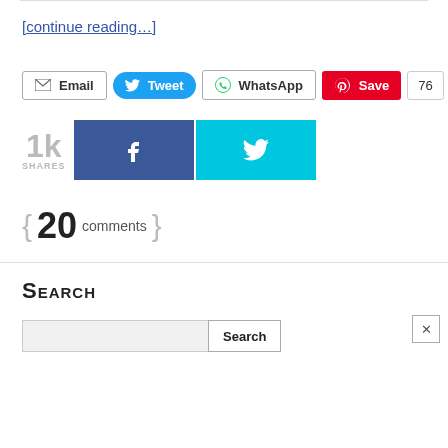[continue reading…]
[Figure (infographic): Share buttons row: Email, Tweet (blue rounded), WhatsApp, Save (red Pinterest), count 76]
[Figure (infographic): Social share bar: 1k SHARES label, Facebook button (dark blue with f icon), Twitter button (cyan with bird icon)]
{ 20 comments }
Search
[Figure (screenshot): Search input box with Search button and X close button]